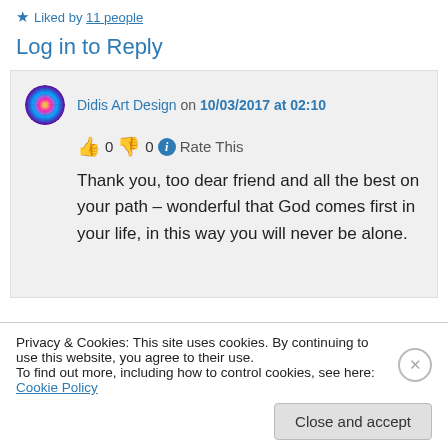★ Liked by 11 people
Log in to Reply
Didis Art Design on 10/03/2017 at 02:10
👍 0 👎 0 ℹ Rate This
Thank you, too dear friend and all the best on your path – wonderful that God comes first in your life, in this way you will never be alone.
Privacy & Cookies: This site uses cookies. By continuing to use this website, you agree to their use. To find out more, including how to control cookies, see here: Cookie Policy
Close and accept